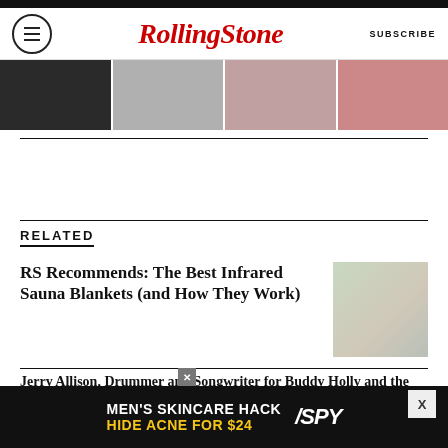Rolling Stone — SUBSCRIBE
[Figure (photo): Image strip with four photos across the top of the page]
RELATED
RS Recommends: The Best Infrared Sauna Blankets (and How They Work)
[Figure (photo): Photo of a person lying on a bed wrapped in an infrared sauna blanket]
Jerry Allison, Drummer and Songwriter for Buddy Holly and the Crickets, Dead at 82
Moisturized to the Gods: Ariana Grande Unveils 'God Is a Woman' Line of Body Products
[Figure (photo): Advertisement: MEN'S SKINCARE HACK — HIDE ACNE FOR $24 — SPY]